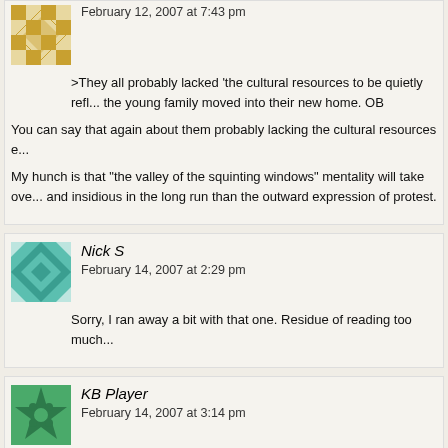>They all probably lacked 'the cultural resources to be quietly refl... the young family moved into their new home. OB
You can say that again about them probably lacking the cultural resources e...
My hunch is that "the valley of the squinting windows" mentality will take ove... and insidious in the long run than the outward expression of protest.
Nick S
February 14, 2007 at 2:29 pm
Sorry, I ran away a bit with that one. Residue of reading too much...
KB Player
February 14, 2007 at 3:14 pm
Nick S:- I don't really understand your scenario 3. Could you give...
No 1 – villagers under Nazism hiding Jews/any resistance group against a d...
No 2 – Little Rock/ Northern Irish Protestants demonstrating against Cathol...